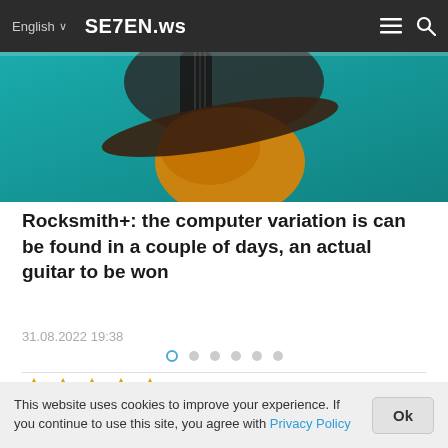English  SE7EN.ws
[Figure (photo): Person playing a guitar, teal/turquoise background, cropped view of hands on guitar neck and body]
Rocksmith+: the computer variation is can be found in a couple of days, an actual guitar to be won
31.08.2022 19:38
[Figure (other): Carousel navigation dots — one active (open circle in blue), five filled grey dots]
☆☆☆☆☆   CACKLE
Leave your comment...
Newest
This website uses cookies to improve your experience. If you continue to use this site, you agree with Privacy Policy